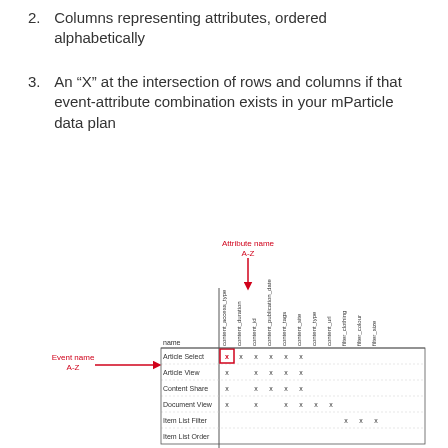2. Columns representing attributes, ordered alphabetically
3. An “X” at the intersection of rows and columns if that event-attribute combination exists in your mParticle data plan
[Figure (other): Annotated table diagram showing event names as rows (A-Z) on left side and attribute names as columns (A-Z) across the top. An X marks the intersection when an event-attribute combination exists in the mParticle data plan. Red arrows point to 'Attribute name A-Z' label at top and 'Event name A-Z' label at left. A highlighted red-bordered cell shows an X at the Article Select / content_access_type intersection. Column headers include: content_access_type, content_duration, content_id, content_publication_date, content_tags, content_site, content_type, content_url, filter_clothing, filter_colour, filter_size. Rows include: Article Select, Article View, Content Share, Document View, Item List Filter, Item List Order.]